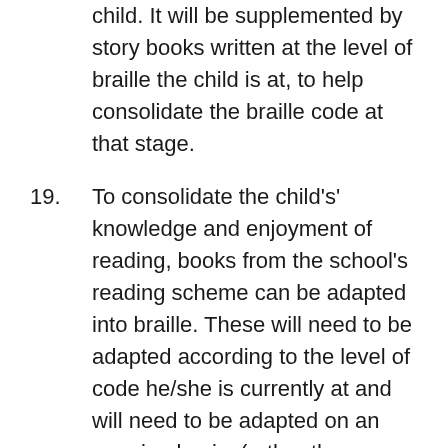child. It will be supplemented by story books written at the level of braille the child is at, to help consolidate the braille code at that stage.
19. To consolidate the child's' knowledge and enjoyment of reading, books from the school's reading scheme can be adapted into braille. These will need to be adapted according to the level of code he/she is currently at and will need to be adapted on an ongoing basis, (rather than ahead of time).
20. Developing the tactile discrimination skills required to read braille will be an